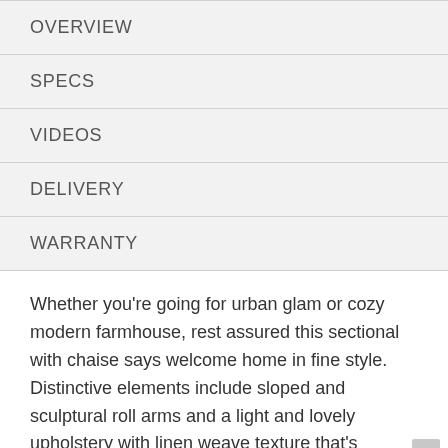OVERVIEW
SPECS
VIDEOS
DELIVERY
WARRANTY
Whether you're going for urban glam or cozy modern farmhouse, rest assured this sectional with chaise says welcome home in fine style. Distinctive elements include sloped and sculptural roll arms and a light and lovely upholstery with linen weave texture that's beautifully on trend. Decorative designer pillows add an